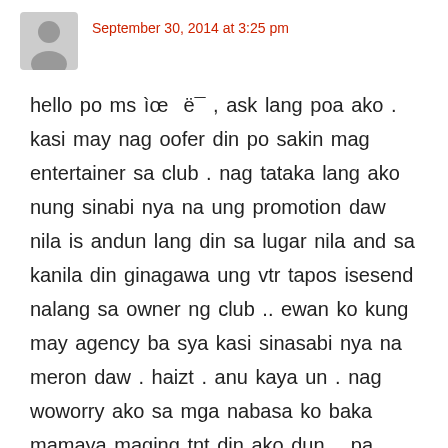September 30, 2014 at 3:25 pm
hello po ms ìœ  ë¯ , ask lang poa ako . kasi may nag oofer din po sakin mag entertainer sa club . nag tataka lang ako nung sinabi nya na ung promotion daw nila is andun lang din sa lugar nila and sa kanila din ginagawa ung vtr tapos isesend nalang sa owner ng club .. ewan ko kung may agency ba sya kasi sinasabi nya na meron daw . haizt . anu kaya un . nag woworry ako sa mga nabasa ko baka mamaya maging tnt din ako dun .. pa help naman po . may posibilities kaya na illegal sya ? thanks ..